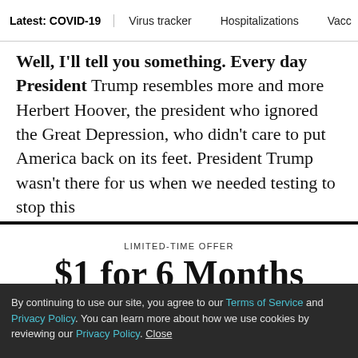Latest: COVID-19 | Virus tracker | Hospitalizations | Vacci
Well, I'll tell you something. Every day President Trump resembles more and more Herbert Hoover, the president who ignored the Great Depression, who didn't care to put America back on its feet. President Trump wasn't there for us when we needed testing to stop this
LIMITED-TIME OFFER
$1 for 6 Months
SUBSCRIBE NOW
By continuing to use our site, you agree to our Terms of Service and Privacy Policy. You can learn more about how we use cookies by reviewing our Privacy Policy. Close